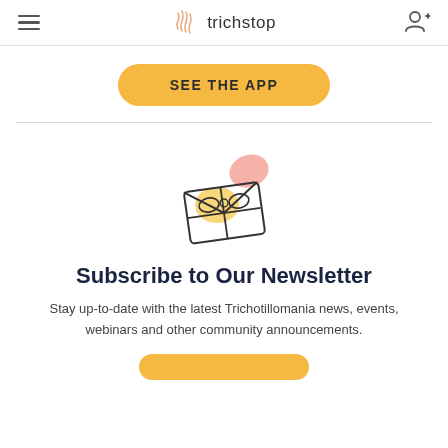trichstop
SEE THE APP
[Figure (illustration): Envelope illustration with a bow/ribbon and decorative pink and yellow shapes]
Subscribe to Our Newsletter
Stay up-to-date with the latest Trichotillomania news, events, webinars and other community announcements.